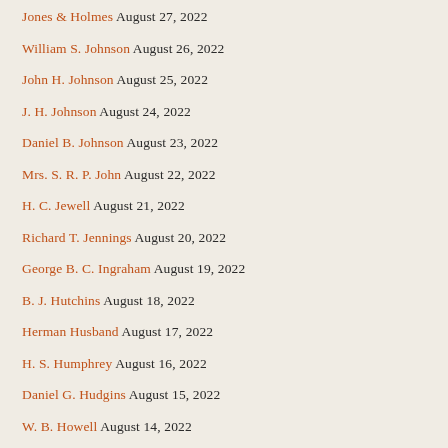Jones & Holmes August 27, 2022
William S. Johnson August 26, 2022
John H. Johnson August 25, 2022
J. H. Johnson August 24, 2022
Daniel B. Johnson August 23, 2022
Mrs. S. R. P. John August 22, 2022
H. C. Jewell August 21, 2022
Richard T. Jennings August 20, 2022
George B. C. Ingraham August 19, 2022
B. J. Hutchins August 18, 2022
Herman Husband August 17, 2022
H. S. Humphrey August 16, 2022
Daniel G. Hudgins August 15, 2022
W. B. Howell August 14, 2022
O. P. Howe August 13, 2022